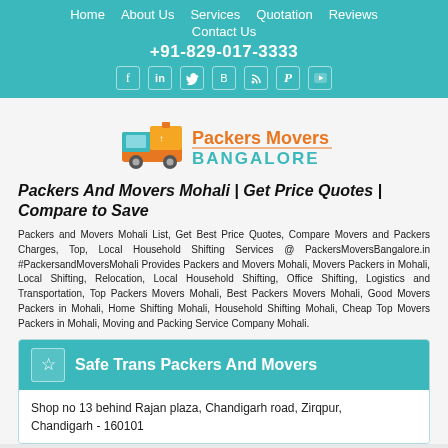Home | About Us | Services | Quotation | Reviews | Contact Us | +91-829-017-3333
[Figure (logo): Packers Movers Bangalore logo with orange truck and orange/teal text]
Packers And Movers Mohali | Get Price Quotes | Compare to Save
Packers and Movers Mohali List, Get Best Price Quotes, Compare Movers and Packers Charges, Top, Local Household Shifting Services @ PackersMoversBangalore.in #PackersandMoversMohali Provides Packers and Movers Mohali, Movers Packers in Mohali, Local Shifting, Relocation, Local Household Shifting, Office Shifting, Logistics and Transportation, Top Packers Movers Mohali, Best Packers Movers Mohali, Good Movers Packers in Mohali, Home Shifting Mohali, Household Shifting Mohali, Cheap Top Movers Packers in Mohali, Moving and Packing Service Company Mohali.
Safe Trans Packers And Movers
Shop no 13 behind Rajan plaza, Chandigarh road, Zirqpur, Chandigarh - 160101